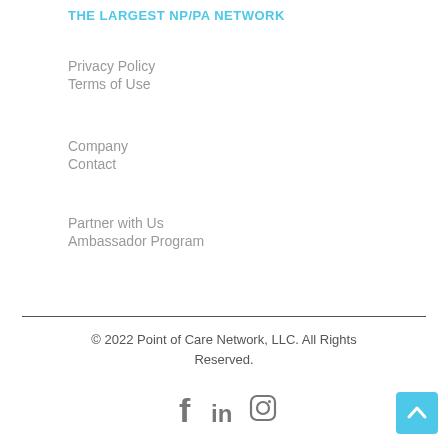THE LARGEST NP/PA NETWORK
Privacy Policy
Terms of Use
Company
Contact
Partner with Us
Ambassador Program
© 2022 Point of Care Network, LLC. All Rights Reserved.